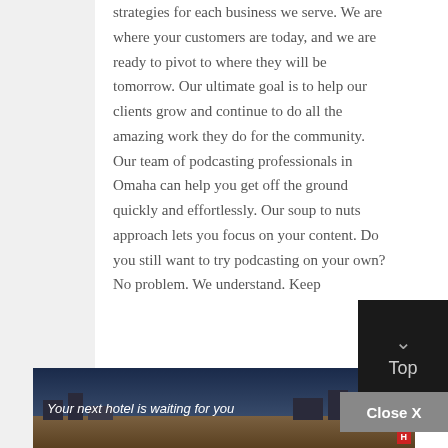strategies for each business we serve. We are where your customers are today, and we are ready to pivot to where they will be tomorrow. Our ultimate goal is to help our clients grow and continue to do all the amazing work they do for the community. Our team of podcasting professionals in Omaha can help you get off the ground quickly and effortlessly. Our soup to nuts approach lets you focus on your content. Do you still want to try podcasting on your own? No problem. We understand. Keep
[Figure (other): Dark 'Top' button with upward arrow in top-right area]
[Figure (other): Grey 'Close X' button]
[Figure (other): Advertisement banner: 'Your next hotel is waiting for you' with hotel landscape photo]